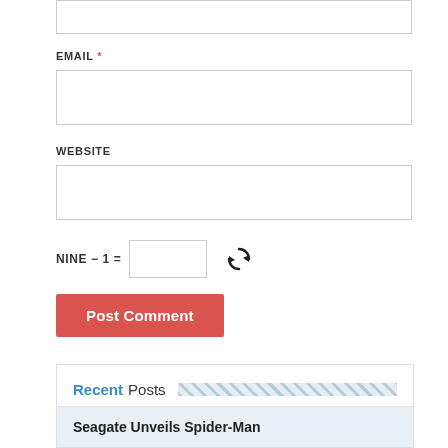EMAIL *
WEBSITE
NINE − 1 =
Post Comment
Recent Posts
Seagate Unveils Spider-Man